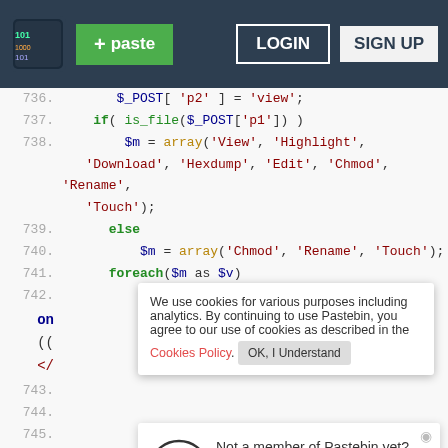Pastebin header with logo, + paste button, LOGIN and SIGN UP buttons
[Figure (screenshot): Pastebin code viewer showing PHP code lines 736-747 with syntax highlighting, a cookie consent overlay, and a membership signup banner]
We use cookies for various purposes including analytics. By continuing to use Pastebin, you agree to our use of cookies as described in the Cookies Policy. OK, I Understand
Not a member of Pastebin yet? Sign Up, it unlocks many cool features!